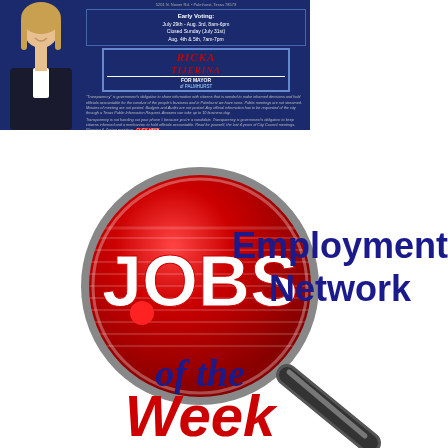[Figure (infographic): Political campaign advertisement for Ricka Tijerina for Mayor of Palmhurst. Shows a woman's photo on left, campaign logo, early voting dates (July 29th - Aug 3rd, 8am-6pm, Closed Sunday July 31st, Aug 4th & 5th, 7am-7pm), transparency statement text, and website www.RickaforMayor.com]
[Figure (logo): Jobs Employment Network of the Week logo. Features a red magnifying glass with 'JOBS' text in white, 'Employment Network' in dark blue to the right, and 'of the Week' in red and dark blue italic text below.]